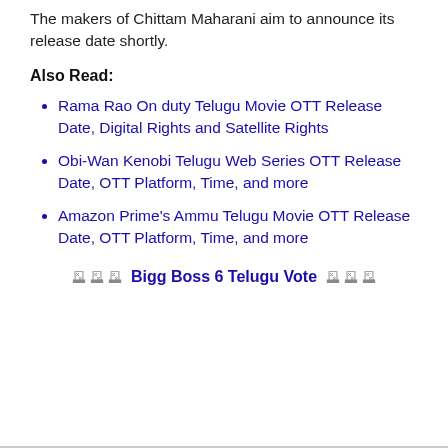The makers of Chittam Maharani aim to announce its release date shortly.
Also Read:
Rama Rao On duty Telugu Movie OTT Release Date, Digital Rights and Satellite Rights
Obi-Wan Kenobi Telugu Web Series OTT Release Date, OTT Platform, Time, and more
Amazon Prime's Ammu Telugu Movie OTT Release Date, OTT Platform, Time, and more
🗳️🗳️🗳️ Bigg Boss 6 Telugu Vote 🗳️🗳️🗳️